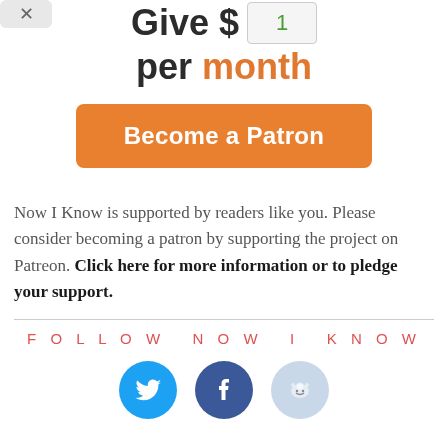Give $ 1 per month
[Figure (other): Orange 'Become a Patron' button]
Now I Know is supported by readers like you. Please consider becoming a patron by supporting the project on Patreon. Click here for more information or to pledge your support.
FOLLOW NOW I KNOW
[Figure (other): Social media icons: Twitter (blue bird), Facebook (dark blue f), Reddit (light blue alien)]